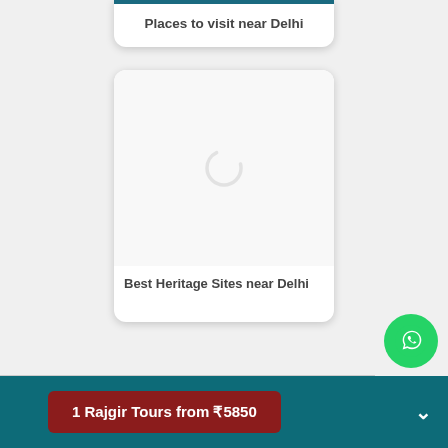Places to visit near Delhi
[Figure (other): Loading spinner / placeholder card for Best Heritage Sites near Delhi]
Best Heritage Sites near Delhi
1 Rajgir Tours from ₹5850